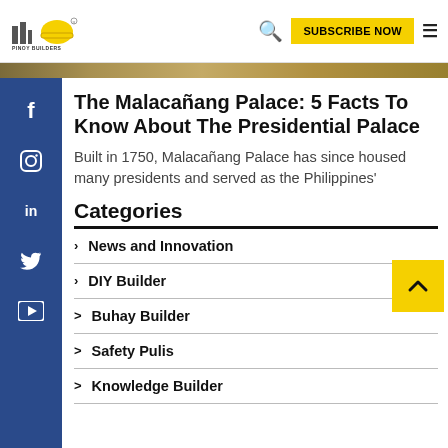Pinoy Builders — SUBSCRIBE NOW
[Figure (photo): Partial photo strip visible at top of article — appears to show a building exterior]
The Malacañang Palace: 5 Facts To Know About The Presidential Palace
Built in 1750, Malacañang Palace has since housed many presidents and served as the Philippines'
Categories
News and Innovation
DIY Builder
Buhay Builder
Safety Pulis
Knowledge Builder